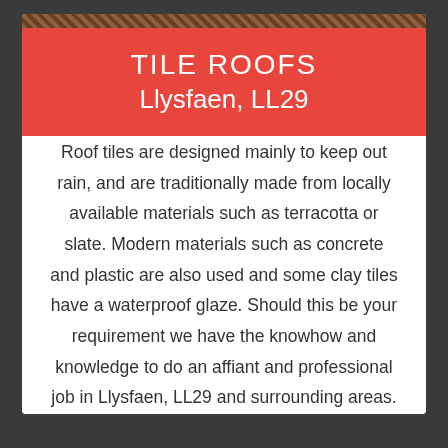TILE ROOFS
Llysfaen, LL29
Roof tiles are designed mainly to keep out rain, and are traditionally made from locally available materials such as terracotta or slate. Modern materials such as concrete and plastic are also used and some clay tiles have a waterproof glaze. Should this be your requirement we have the knowhow and knowledge to do an affiant and professional job in Llysfaen, LL29 and surrounding areas.